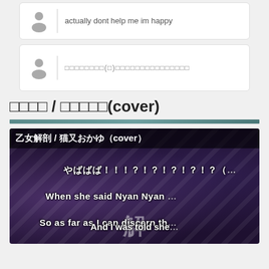actually dont help me im happy
□□□□□□□□(□)□□□□□□□□□□□□□□□
□□□□ / □□□□□(cover)
[Figure (screenshot): Video thumbnail screenshot showing 乙女解剖 / 猫又おかゆ（cover）with anime-style artwork and subtitles: やばばば！！！？！？！？！？！？（ , When she said Nyan Nyan, So as far as I can discern th, And I was told she]